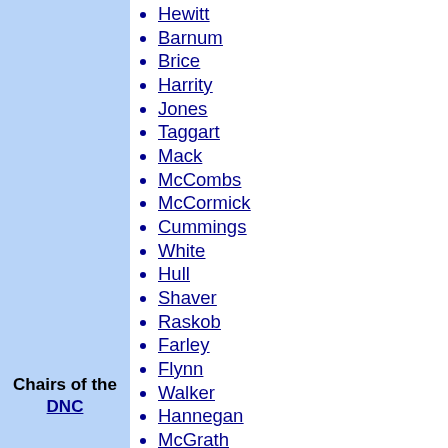Chairs of the DNC
Hewitt
Barnum
Brice
Harrity
Jones
Taggart
Mack
McCombs
McCormick
Cummings
White
Hull
Shaver
Raskob
Farley
Flynn
Walker
Hannegan
McGrath
Boyle
McKinney
Mitchell
Butler
Jackson
Bailey